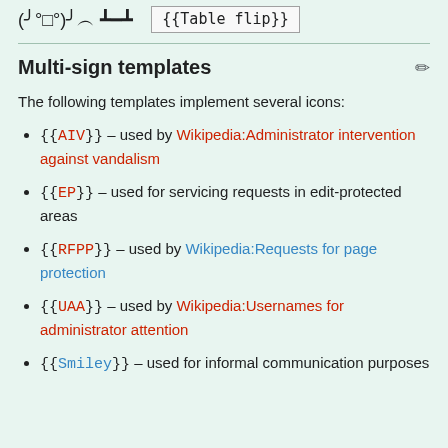(╯°□°)╯︵ ┻━┻   {{Table flip}}
Multi-sign templates
The following templates implement several icons:
{{AIV}} – used by Wikipedia:Administrator intervention against vandalism
{{EP}} – used for servicing requests in edit-protected areas
{{RFPP}} – used by Wikipedia:Requests for page protection
{{UAA}} – used by Wikipedia:Usernames for administrator attention
{{Smiley}} – used for informal communication purposes